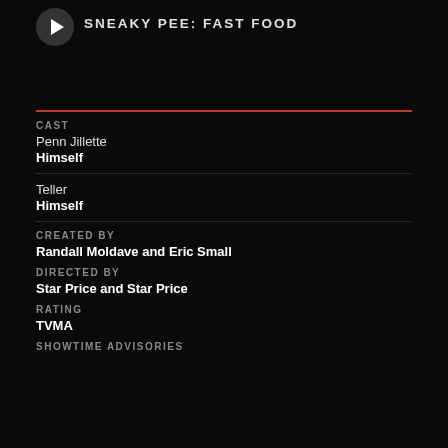SNEAKY PEE: FAST FOOD
CAST
Penn Jillette
Himself
Teller
Himself
CREATED BY
Randall Moldave and Eric Small
DIRECTED BY
Star Price and Star Price
RATING
TVMA
SHOWTIME ADVISORIES